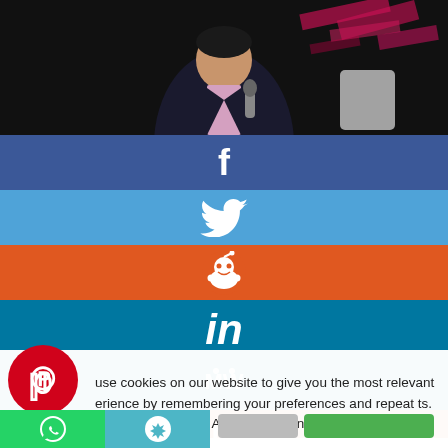[Figure (photo): Person speaking on stage with a microphone, wearing a dark suit, against a dark background with pink/magenta accent lighting]
[Figure (infographic): Social media share buttons stacked vertically: Facebook (dark blue), Twitter (light blue), Reddit (orange), LinkedIn (teal), Pinterest (red circle overlay), MeWe (teal), Mix (orange)]
use cookies on our website to give you the most relevant erience by remembering your preferences and repeat ts. By clicking "Accept All" you consent to the use of ALL